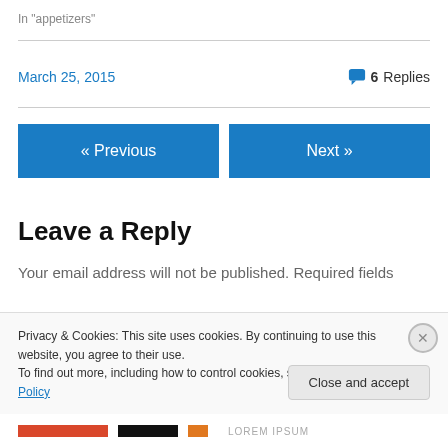In "appetizers"
March 25, 2015
6 Replies
« Previous
Next »
Leave a Reply
Your email address will not be published. Required fields
Privacy & Cookies: This site uses cookies. By continuing to use this website, you agree to their use.
To find out more, including how to control cookies, see here: Cookie Policy
Close and accept